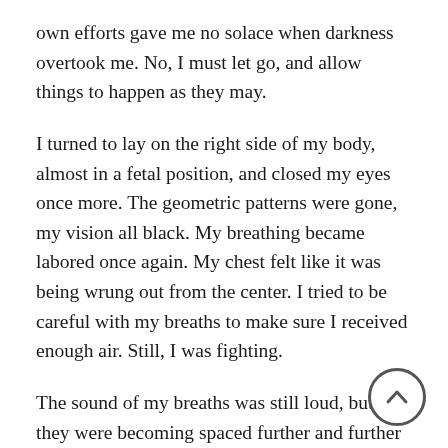own efforts gave me no solace when darkness overtook me. No, I must let go, and allow things to happen as they may.
I turned to lay on the right side of my body, almost in a fetal position, and closed my eyes once more. The geometric patterns were gone, my vision all black. My breathing became labored once again. My chest felt like it was being wrung out from the center. I tried to be careful with my breaths to make sure I received enough air. Still, I was fighting.
The sound of my breaths was still loud, but now they were becoming spaced further and further apart. Don’t be afraid, I said to myself. Then the sound of the air entering my lungs went silent. I was no longer breathing. I could not perceive myself as breathing. I tried to open my eyes, but I couldn’t. Then I tried to wave my hands in front of my face, but nothing happened. I was no longer in my body. Then whoosh